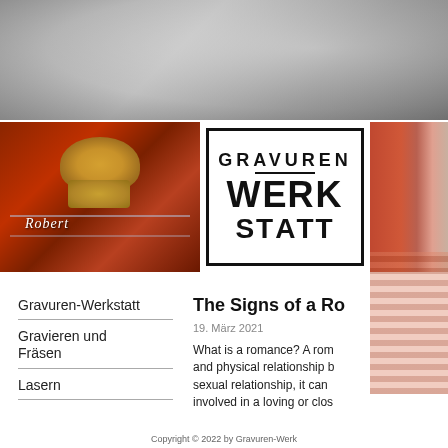[Figure (photo): Hero banner background with dark gray tones, likely showing a macro detail of engraving equipment]
[Figure (photo): Close-up photo of an engraving tool working on a red surface with text 'Robert' being engraved, metal brass tool visible]
[Figure (logo): Gravuren-Werkstatt logo in a black bordered rectangle with bold geometric lettering]
[Figure (photo): Partial photo on the right showing a reddish textile or material close-up]
Gravuren-Werkstatt
Gravieren und Fräsen
Lasern
The Signs of a Ro
19. März 2021
What is a romance? A rom and physical relationship b sexual relationship, it can involved in a loving or clos
Copyright © 2022 by Gravuren-Werk